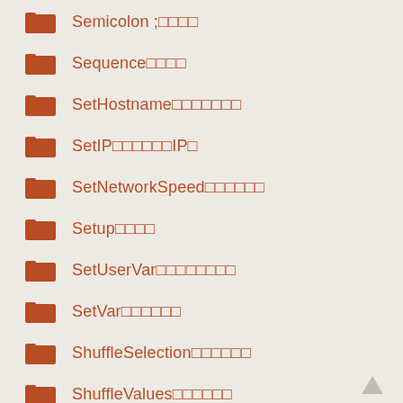Semicolon ;□□□□
Sequence□□□□
SetHostname□□□□□□□
SetIP□□□□□□IP□
SetNetworkSpeed□□□□□□□
Setup□□□□
SetUserVar□□□□□□□□
SetVar□□□□□□
ShuffleSelection□□□□□□
ShuffleValues□□□□□□
Shutdown□□□□